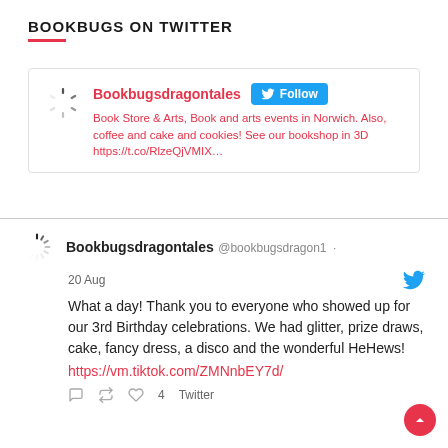BOOKBUGS ON TWITTER
[Figure (screenshot): Twitter follow widget for Bookbugsdragontales with spinner/loading icon, red username, follow button, and bio text about Book Store & Arts events in Norwich.]
[Figure (screenshot): Tweet from Bookbugsdragontales (@bookbugsdragon1) dated 20 Aug. Text: What a day! Thank you to everyone who showed up for our 3rd Birthday celebrations. We had glitter, prize draws, cake, fancy dress, a disco and the wonderful HeHews! https://vm.tiktok.com/ZMNnbEY7d/ — with reply, retweet, like (4), and Twitter source.]